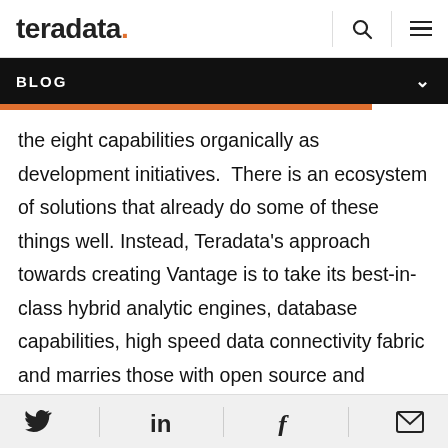teradata. [logo] [search icon] [menu icon]
BLOG
the eight capabilities organically as development initiatives.  There is an ecosystem of solutions that already do some of these things well. Instead, Teradata's approach towards creating Vantage is to take its best-in-class hybrid analytic engines, database capabilities, high speed data connectivity fabric and marries those with open source and enterprise technologies. Using sound design principles, we have been able to create a
[Twitter] [LinkedIn] [Facebook] [Email]